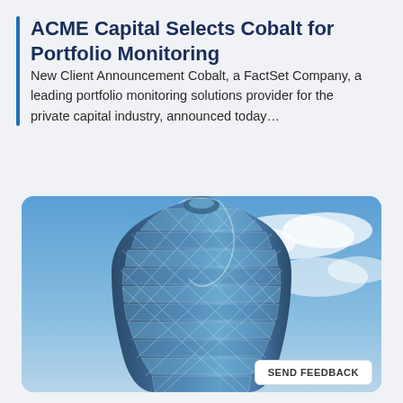ACME Capital Selects Cobalt for Portfolio Monitoring
New Client Announcement Cobalt, a FactSet Company, a leading portfolio monitoring solutions provider for the private capital industry, announced today...
[Figure (photo): Photo of the 30 St Mary Axe (Gherkin) building in London against a blue sky with clouds]